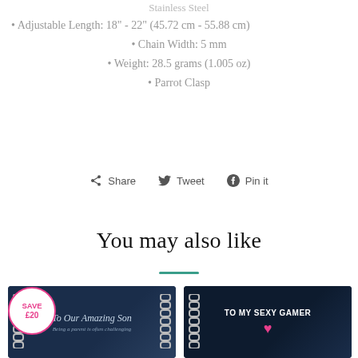Stainless Steel
Adjustable Length: 18" - 22" (45.72 cm - 55.88 cm)
Chain Width: 5 mm
Weight: 28.5 grams (1.005 oz)
Parrot Clasp
Share  Tweet  Pin it
You may also like
[Figure (photo): Product card showing 'To Our Amazing Son' chain necklace on dark navy background with SAVE £20 badge]
[Figure (photo): Product card showing 'TO MY SEXY GAMER' chain necklace on dark background with red heart]